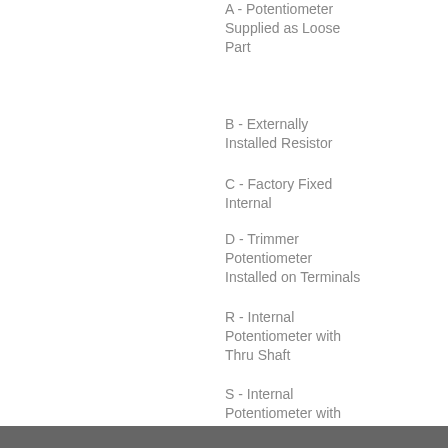A - Potentiometer Supplied as Loose Part
B - Externally Installed Resistor
C - Factory Fixed Internal
D - Trimmer Potentiometer Installed on Terminals
R - Internal Potentiometer with Thru Shaft
S - Internal Potentiometer with Screwdriver Slot